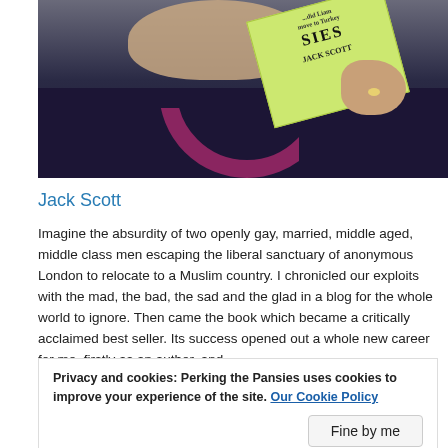[Figure (photo): A person holding up a book with a light green cover titled with 'SIES' visible and 'JACK SCOTT' printed on it, wearing a dark navy shirt with a magenta/purple design.]
Jack Scott
Imagine the absurdity of two openly gay, married, middle aged, middle class men escaping the liberal sanctuary of anonymous London to relocate to a Muslim country. I chronicled our exploits with the mad, the bad, the sad and the glad in a blog for the whole world to ignore. Then came the book which became a critically acclaimed best seller. Its success opened out a whole new career for me, firstly as an author, and
Privacy and cookies: Perking the Pansies uses cookies to improve your experience of the site. Our Cookie Policy
Fine by me
sometimes nostalgic for our encounters with the hopeless, the hapless